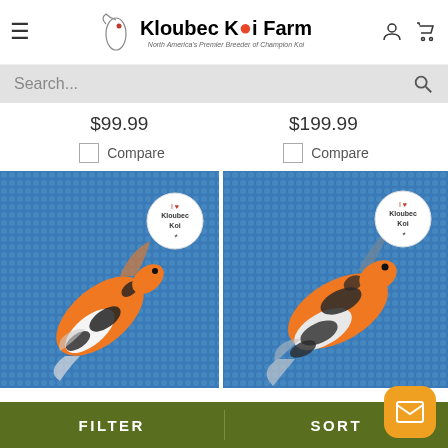Kloubec Koi Farm - North America's Premier Breeder of Champion Koi
Search...
$99.99
$199.99
Compare
Compare
[Figure (photo): Orange, white and black koi fish photographed from above on a blue dotted background, with 'I Love Kloubec Koi' sticker visible in top right corner]
[Figure (photo): Orange, white and black koi fish photographed from above on a blue dotted background, with 'I Love Kloubec Koi' sticker visible in top right corner]
FILTER  SORT